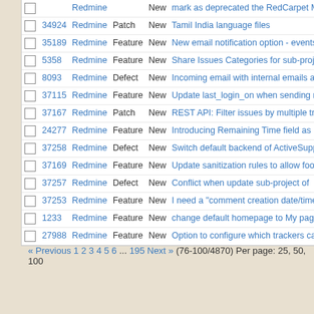|  | # | Project | Tracker | Status | Subject |
| --- | --- | --- | --- | --- | --- |
|  |  | Redmine |  | New | mark as deprecated the RedCarpet Marko... |
|  | 34924 | Redmine | Patch | New | Tamil India language files |
|  | 35189 | Redmine | Feature | New | New email notification option - events of m... bookmarked projects |
|  | 5358 | Redmine | Feature | New | Share Issues Categories for sub-projects |
|  | 8093 | Redmine | Defect | New | Incoming email with internal emails as attachments isn't processed properly |
|  | 37115 | Redmine | Feature | New | Update last_login_on when sending reque... with API Key |
|  | 37167 | Redmine | Patch | New | REST API: Filter issues by multiple tracke... |
|  | 24277 | Redmine | Feature | New | Introducing Remaining Time field as meth... track the remaining time to complete an is... |
|  | 37258 | Redmine | Defect | New | Switch default backend of ActiveSupport::XmlMini from rexml to Nok... |
|  | 37169 | Redmine | Feature | New | Update sanitization rules to allow footnote... markup to match the original structure |
|  | 37257 | Redmine | Defect | New | Conflict when update sub-project of |
|  | 37253 | Redmine | Feature | New | I need a "comment creation date/time" as... filtering item on my ticket! |
|  | 1233 | Redmine | Feature | New | change default homepage to My page |
|  | 27988 | Redmine | Feature | New | Option to configure which trackers can be... as subtasks for each tracker |
« Previous 1 2 3 4 5 6 ... 195 Next » (76-100/4870) Per page: 25, 50, 100